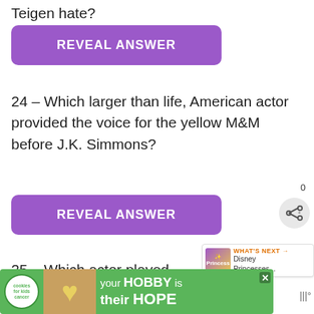Teigen hate?
[Figure (other): Purple REVEAL ANSWER button]
24 – Which larger than life, American actor provided the voice for the yellow M&M before J.K. Simmons?
[Figure (other): Purple REVEAL ANSWER button with share icon and count 0]
[Figure (other): WHAT'S NEXT promotional box with Disney Princesses thumbnail]
25 – Which actor played Willy Won[ka in the] Tim Burton film?
[Figure (other): Advertisement banner: cookies for kids cancer - your HOBBY is their HOPE]